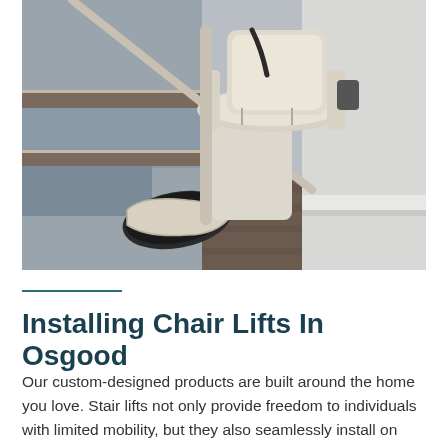[Figure (photo): Close-up photo of a cream/beige stairlift chair lift installed on indoor stairs, showing the seat, armrests, and footrest platform. The staircase has dark wood steps and a white wall with baseboard trim. The floor at the bottom is dark hardwood.]
Installing Chair Lifts In Osgood
Our custom-designed products are built around the home you love. Stair lifts not only provide freedom to individuals with limited mobility, but they also seamlessly install on